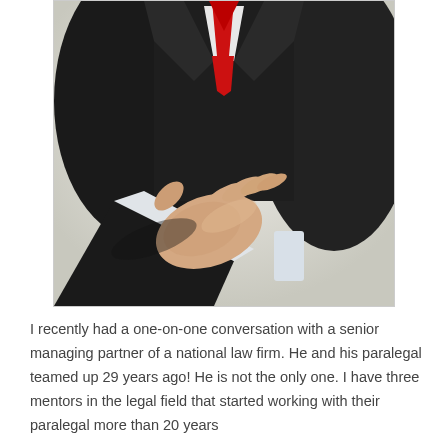[Figure (photo): A man in a black suit with a red tie extending his hand forward for a handshake, shot from chest level. The background is light/white. The extended hand and arm are prominent in the foreground.]
I recently had a one-on-one conversation with a senior managing partner of a national law firm. He and his paralegal teamed up 29 years ago! He is not the only one. I have three mentors in the legal field that started working with their paralegal more than 20 years